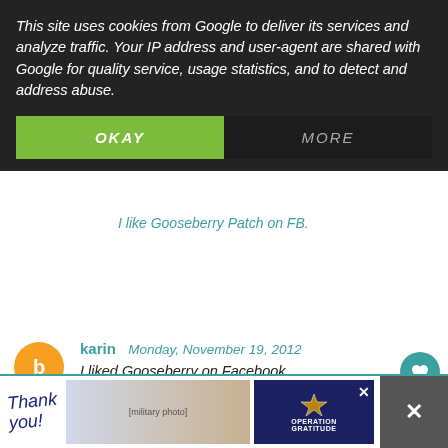This site uses cookies from Google to deliver its services and analyze traffic. Your IP address and user-agent are shared with Google for quality service, usage statistics, and to detect and address abuse.
OKAY
MORE
karin  Monday, November 19, 2012
I liked Gooseberry on Facebook
Reply
karin  Monday, November 19, 2012
I left a photo and comment on Facebook(althoug... it)
Reply
[Figure (screenshot): Operation Gratitude advertisement banner with thank you military theme]
WHAT'S NEXT → Lemonade